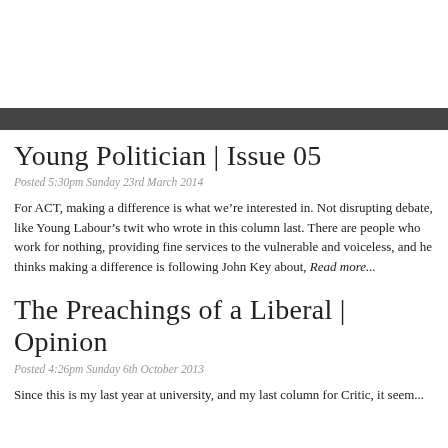Young Politician | Issue 05
Posted 5:30pm Sunday 23rd March 2014
For ACT, making a difference is what we’re interested in. Not disrupting debate, like Young Labour’s twit who wrote in this column last. There are people who work for nothing, providing fine services to the vulnerable and voiceless, and he thinks making a difference is following John Key about, Read more...
The Preachings of a Liberal | Opinion
Posted 4:26pm Sunday 6th October 2013
Since this is my last year at university, and my last column for Critic, it seem...